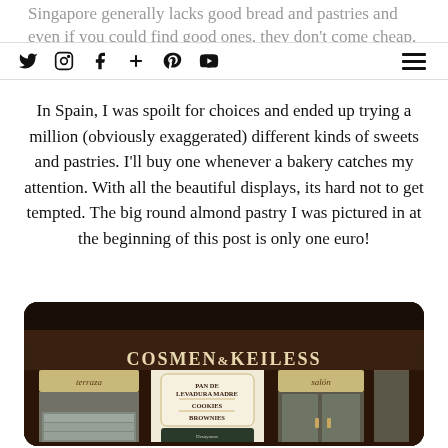Singapore generally lacks good bread and pastries and even if you could find good ones, they don't come cheap.
Twitter | Instagram | Facebook | Plus | Pinterest | YouTube | Menu
In Spain, I was spoilt for choices and ended up trying a million (obviously exaggerated) different kinds of sweets and pastries. I'll buy one whenever a bakery catches my attention. With all the beautiful displays, its hard not to get tempted. The big round almond pastry I was pictured in at the beginning of this post is only one euro!
[Figure (photo): Exterior storefront photo of a bakery called COSMEN & KEILESS, with dark wood facade, showing signs for 'terraza', 'PAN DE LEVADURA MADRE', 'COOKIES', 'BROWNIES', 'salon', and a chalkboard menu. Display cases with pastries visible through the windows.]